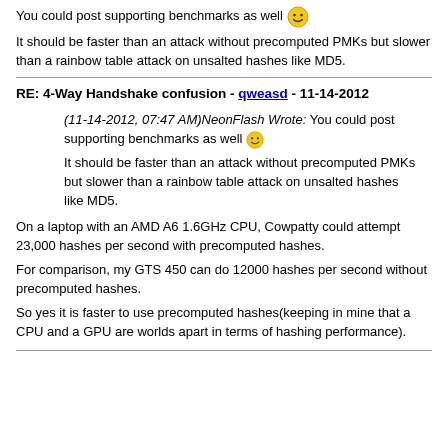You could post supporting benchmarks as well 😊
It should be faster than an attack without precomputed PMKs but slower than a rainbow table attack on unsalted hashes like MD5.
RE: 4-Way Handshake confusion - qweasd - 11-14-2012
(11-14-2012, 07:47 AM)NeonFlash Wrote: You could post supporting benchmarks as well 😊
It should be faster than an attack without precomputed PMKs but slower than a rainbow table attack on unsalted hashes like MD5.
On a laptop with an AMD A6 1.6GHz CPU, Cowpatty could attempt 23,000 hashes per second with precomputed hashes.
For comparison, my GTS 450 can do 12000 hashes per second without precomputed hashes.
So yes it is faster to use precomputed hashes(keeping in mine that a CPU and a GPU are worlds apart in terms of hashing performance).